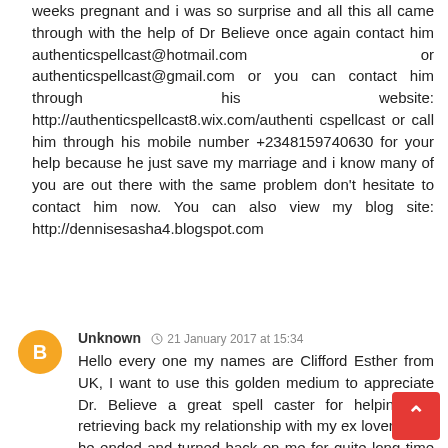weeks pregnant and i was so surprise and all this all came through with the help of Dr Believe once again contact him authenticspellcast@hotmail.com or authenticspellcast@gmail.com or you can contact him through his website: http://authenticspellcast8.wix.com/authenticspellcast or call him through his mobile number +2348159740630 for your help because he just save my marriage and i know many of you are out there with the same problem don't hesitate to contact him now. You can also view my blog site: http://dennisesasha4.blogspot.com
Unknown 21 January 2017 at 15:34
Hello every one my names are Clifford Esther from UK, I want to use this golden medium to appreciate Dr. Believe a great spell caster for helping me retrieving back my relationship with my ex lover when he ended and turned back on me for quite long time now (6 months ago). He